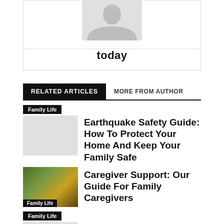[Figure (illustration): Gray silhouette avatar / profile picture placeholder showing a person outline]
today
RELATED ARTICLES
MORE FROM AUTHOR
Family Life
Earthquake Safety Guide: How To Protect Your Home And Keep Your Family Safe
[Figure (photo): Christmas ornament star decorations on a tree, Family Life tag overlay]
Caregiver Support: Our Guide For Family Caregivers
Family Life
5 Tips To Rent A Family Apartment Sight Unseen